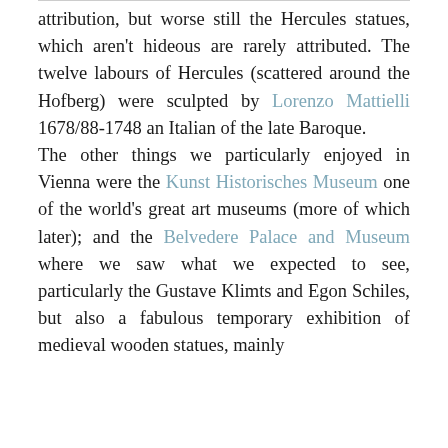attribution, but worse still the Hercules statues, which aren't hideous are rarely attributed. The twelve labours of Hercules (scattered around the Hofberg) were sculpted by Lorenzo Mattielli 1678/88-1748 an Italian of the late Baroque.
The other things we particularly enjoyed in Vienna were the Kunst Historisches Museum one of the world's great art museums (more of which later); and the Belvedere Palace and Museum where we saw what we expected to see, particularly the Gustave Klimts and Egon Schiles, but also a fabulous temporary exhibition of medieval wooden statues, mainly